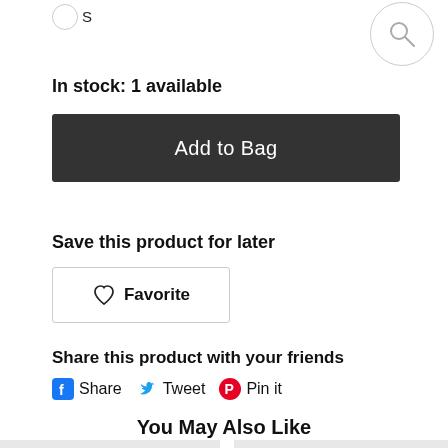S
In stock: 1 available
Add to Bag
Save this product for later
Favorite
Share this product with your friends
Share   Tweet   Pin it
You May Also Like
[Figure (other): Bottom product card thumbnails partially visible]